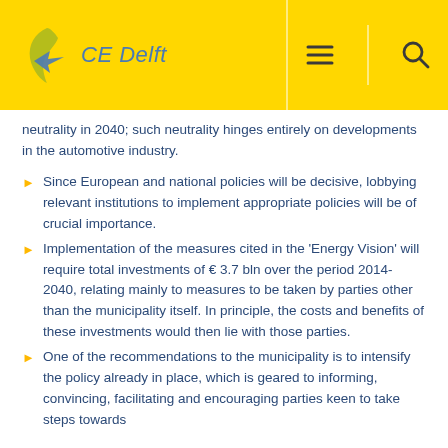CE Delft
neutrality in 2040; such neutrality hinges entirely on developments in the automotive industry.
Since European and national policies will be decisive, lobbying relevant institutions to implement appropriate policies will be of crucial importance.
Implementation of the measures cited in the 'Energy Vision' will require total investments of € 3.7 bln over the period 2014-2040, relating mainly to measures to be taken by parties other than the municipality itself. In principle, the costs and benefits of these investments would then lie with those parties.
One of the recommendations to the municipality is to intensify the policy already in place, which is geared to informing, convincing, facilitating and encouraging parties keen to take steps towards